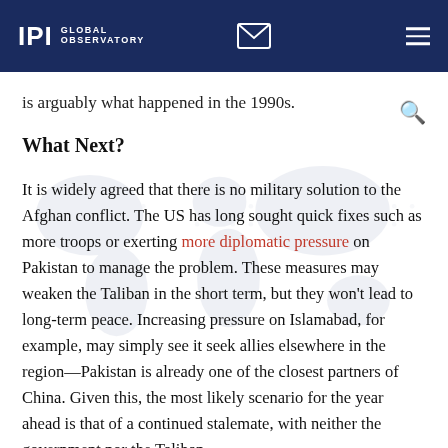IPI GLOBAL OBSERVATORY
is arguably what happened in the 1990s.
What Next?
It is widely agreed that there is no military solution to the Afghan conflict. The US has long sought quick fixes such as more troops or exerting more diplomatic pressure on Pakistan to manage the problem. These measures may weaken the Taliban in the short term, but they won't lead to long-term peace. Increasing pressure on Islamabad, for example, may simply see it seek allies elsewhere in the region—Pakistan is already one of the closest partners of China. Given this, the most likely scenario for the year ahead is that of a continued stalemate, with neither the government nor the Taliban